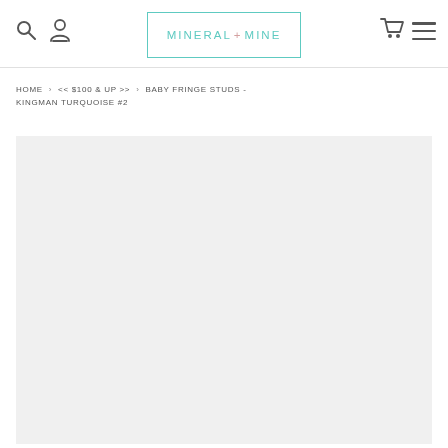Mineral + Mine — navigation header with search, account, cart, and menu icons
HOME > << $100 & UP >> > BABY FRINGE STUDS - KINGMAN TURQUOISE #2
[Figure (photo): Product image placeholder — light gray background, no product visible yet (loading state)]